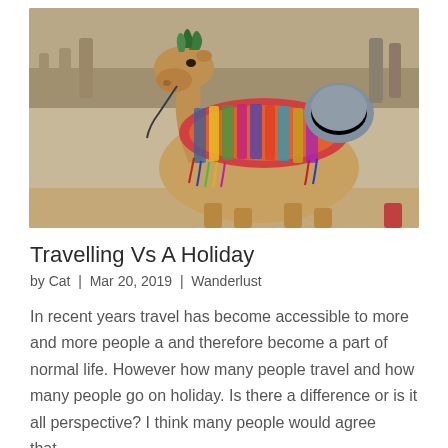[Figure (photo): A camel with colorful decorative saddle and bridle, sitting in what appears to be an outdoor market or tourist area. The camel is tan/golden in color and has green decorations on its head and a multicolored ornate saddle blanket.]
Travelling Vs A Holiday
by Cat | Mar 20, 2019 | Wanderlust
In recent years travel has become accessible to more and more people a and therefore become a part of normal life. However how many people travel and how many people go on holiday. Is there a difference or is it all perspective? I think many people would agree that...